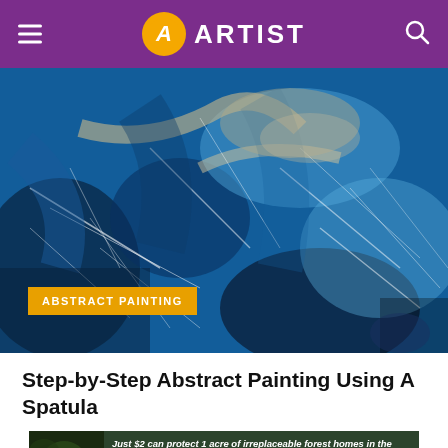ARTIST
[Figure (photo): Abstract painting close-up showing blue paint applied with a spatula, with white streaks and dark textures throughout the canvas.]
ABSTRACT PAINTING
Step-by-Step Abstract Painting Using A Spatula
[Figure (photo): Advertisement banner: Just $2 can protect 1 acre of irreplaceable forest homes in the Amazon. How many acres are you willing to protect? PROTECT FORESTS NOW]